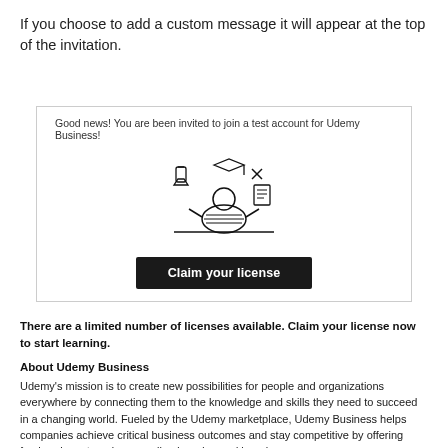If you choose to add a custom message it will appear at the top of the invitation.
Good news! You are been invited to join a test account for Udemy Business!
[Figure (illustration): Black and white illustration of a person sitting at a desk surrounded by floating icons including a flask, graduation cap, checkmark, and documents.]
Claim your license
There are a limited number of licenses available. Claim your license now to start learning.
About Udemy Business
Udemy's mission is to create new possibilities for people and organizations everywhere by connecting them to the knowledge and skills they need to succeed in a changing world. Fueled by the Udemy marketplace, Udemy Business helps companies achieve critical business outcomes and stay competitive by offering fresh, relevant, and personalized on-demand learning.